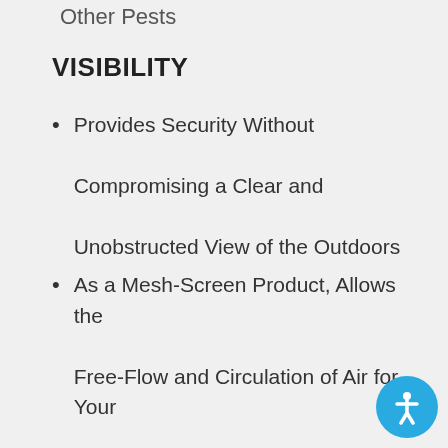Other Pests
VISIBILITY
Provides Security Without Compromising a Clear and Unobstructed View of the Outdoors
As a Mesh-Screen Product, Allows the Free-Flow and Circulation of Air for Your Comfort
Provides Energy Savings from Reduced Need for Air-Conditioning
Blocks an Average of 60% of Harmful